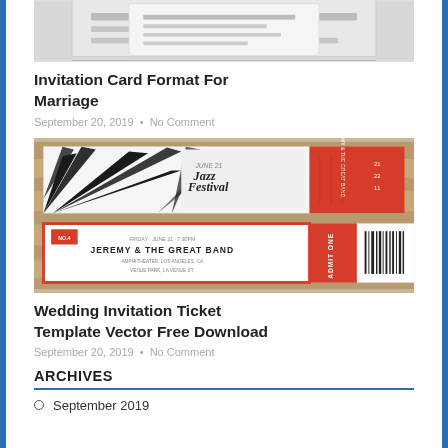[Figure (photo): Partial top crop of an invitation card image on grey background]
Invitation Card Format For Marriage
September 20, 2019 • No Comment
[Figure (photo): Jazz Festival ticket and concert ticket template with red and black design on wooden background]
Wedding Invitation Ticket Template Vector Free Download
September 20, 2019 • No Comment
ARCHIVES
September 2019